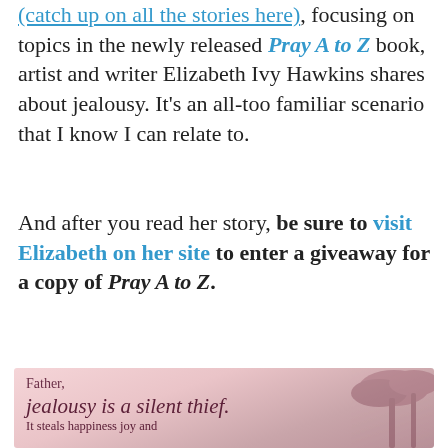(catch up on all the stories here), focusing on topics in the newly released Pray A to Z book, artist and writer Elizabeth Ivy Hawkins shares about jealousy. It's an all-too familiar scenario that I know I can relate to.
And after you read her story, be sure to visit Elizabeth on her site to enter a giveaway for a copy of Pray A to Z.
[Figure (illustration): A decorative image with a pink/mauve background and faded palm trees. Text overlay reads: 'Father, jealousy is a silent thief. It steals happiness joy and contentedness with the gifts You have given. Please forgive me for the times...']